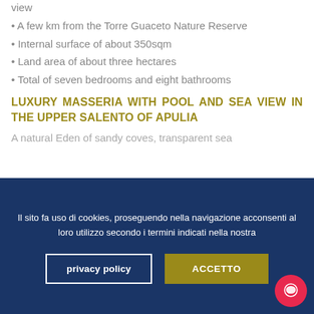view
A few km from the Torre Guaceto Nature Reserve
Internal surface of about 350sqm
Land area of about three hectares
Total of seven bedrooms and eight bathrooms
LUXURY MASSERIA WITH POOL AND SEA VIEW IN THE UPPER SALENTO OF APULIA
A natural Eden of sandy coves, transparent sea
Il sito fa uso di cookies, proseguendo nella navigazione acconsenti al loro utilizzo secondo i termini indicati nella nostra
privacy policy
ACCETTO